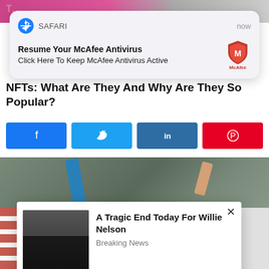[Figure (screenshot): Top portion of a webpage with a colorful photo background partially visible]
[Figure (screenshot): Safari browser notification popup: 'Resume Your McAfee Antivirus - Click Here To Keep McAfee Antivirus Active' with McAfee logo, timestamped 'now']
NFTs: What Are They And Why Are They So Popular?
[Figure (screenshot): Row of social media share buttons: Facebook (blue), Twitter (light blue), LinkedIn (dark blue), Pinterest (red)]
[Figure (photo): Photo showing a WANTED sign being drawn/painted on white fabric, with stone background and blue object visible]
[Figure (screenshot): Ad popup overlay with an elderly man's photo and text: 'A Tragic End Today For Willie Nelson' with subtitle 'Breaking News', and an X close button]